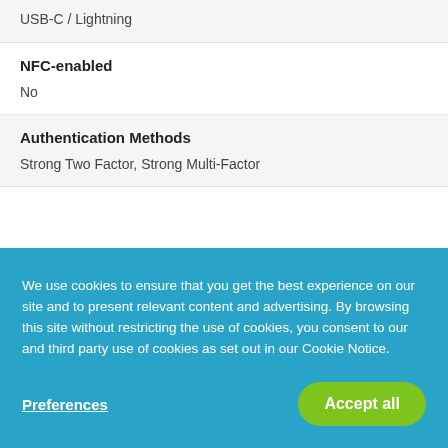USB-C / Lightning
NFC-enabled
No
Authentication Methods
Strong Two Factor, Strong Multi-Factor
We use cookies to ensure that you get the best experience on our site and to present relevant content and advertising. By browsing this site without restricting the use of cookies, you consent to our and third party use of cookies as set out in our Cookie Notice.
Preferences
Accept all